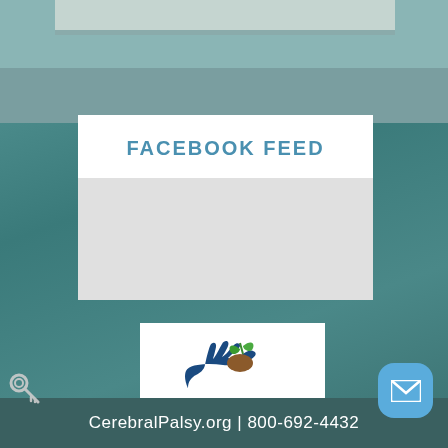[Figure (photo): Top cropped photo strip showing what appears to be a child or person, partially visible]
FACEBOOK FEED
[Figure (logo): MyChild at CerebralPalsy.org logo featuring a dark blue hand holding a brown seed/sprout with green leaves]
CerebralPalsy.org | 800-692-4432